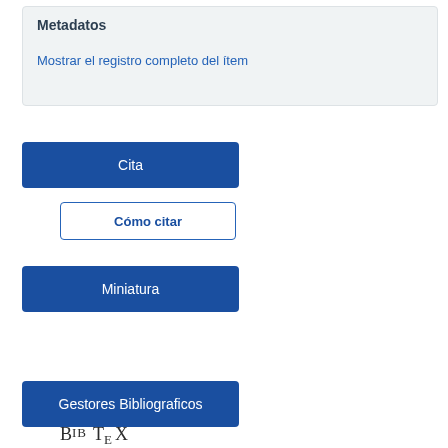Metadatos
Mostrar el registro completo del ítem
Cita
Cómo citar
Miniatura
Gestores Bibliograficos
[Figure (logo): BibTeX logo text in serif font]